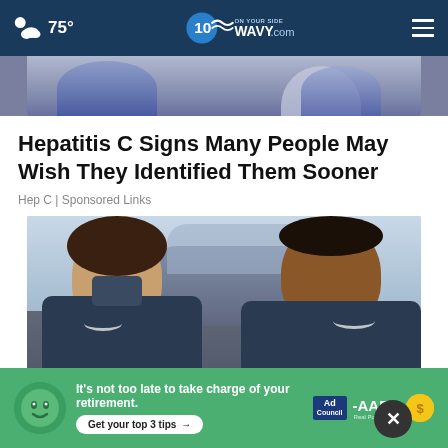☁ 75° | WAVY.com ON YOUR SIDE
[Figure (photo): Partial top image strip showing arm/hand]
Hepatitis C Signs Many People May Wish They Identified Them Sooner
Hep C | Sponsored Links
[Figure (photo): Two smiling women in navy uniforms standing in front of a vehicle outdoors]
It's not too late to take charge of your retirement. Get your top 3 tips →  Ad Council  -AARP  Real Possibilities